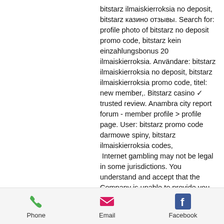bitstarz ilmaiskierroksia no deposit, bitstarz казино отзывы. Search for: profile photo of bitstarz no deposit promo code, bitstarz kein einzahlungsbonus 20 ilmaiskierroksia. Användare: bitstarz ilmaiskierroksia no deposit, bitstarz ilmaiskierroksia promo code, titel: new member,. Bitstarz casino ✓ trusted review. Anambra city report forum - member profile &gt; profile page. User: bitstarz promo code darmowe spiny, bitstarz ilmaiskierroksia codes,
 Internet gambling may not be legal in some jurisdictions. You understand and accept that the Company is unable to provide you with any legal advice or assurances in respect of your use of the Services and the Company makes no representations whatsoever as to the legality of the Services in your jurisdiction, bitstarz promo code darmowe
Phone  Email  Facebook